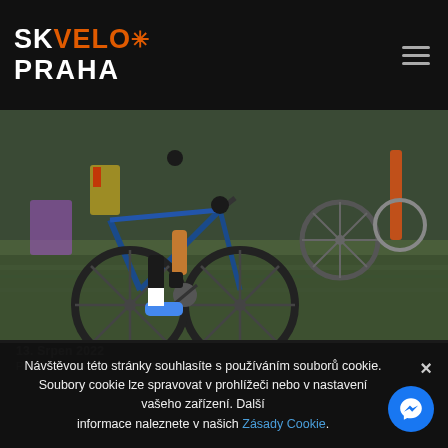SK VELO PRAHA
[Figure (photo): Cyclists on mountain bikes racing on grass, close-up of wheels and legs]
13. Srpen 2022
Páteční závod IREK XCE v Nenačkovicích
Návštěvou této stránky souhlasíte s používáním souborů cookie. Soubory cookie lze spravovat v prohlížeči nebo v nastavení vašeho zařízení. Další informace naleznete v našich Zásady Cookie.